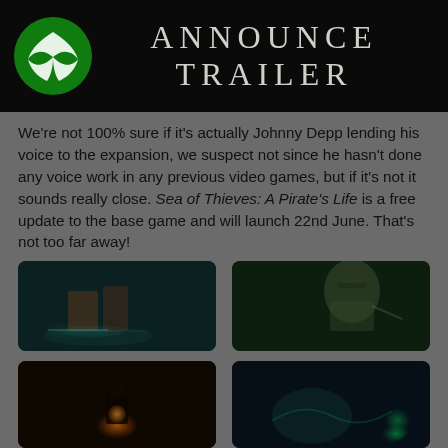[Figure (screenshot): Xbox announcement trailer banner with Xbox logo on dark background and decorative text 'ANNOUNCE TRAILER']
We're not 100% sure if it's actually Johnny Depp lending his voice to the expansion, we suspect not since he hasn't done any voice work in any previous video games, but if it's not it sounds really close. Sea of Thieves: A Pirate's Life is a free update to the base game and will launch 22nd June. That's not too far away!
[Figure (screenshot): Sea of Thieves game screenshot - dark teal underwater/jungle scene with glowing light effects]
[Figure (screenshot): Sea of Thieves game screenshot - character with pirate hat in dark fantasy environment]
[Figure (screenshot): Sea of Thieves game screenshot - dark scene with glowing orange light, silhouetted figure]
[Figure (screenshot): Sea of Thieves game screenshot - underwater scene with green glowing elements]